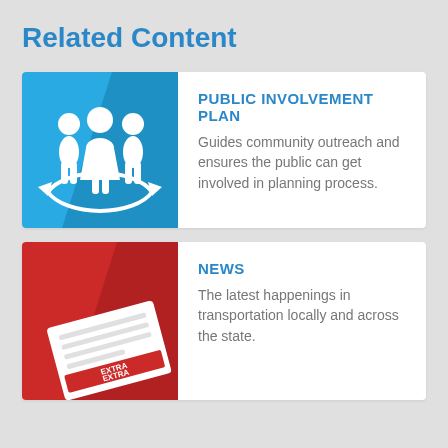Related Content
[Figure (illustration): Blue square icon with three white human figures (two adults, one woman in center) surrounded by a circular arrow, with a diagonal shadow. Represents public involvement.]
PUBLIC INVOLVEMENT PLAN
Guides community outreach and ensures the public can get involved in planning process.
[Figure (illustration): Red square icon with a white stylized newspaper showing 'EXTRA EXTRA' text and a diagonal shadow. Represents news.]
NEWS
The latest happenings in transportation locally and across the state.